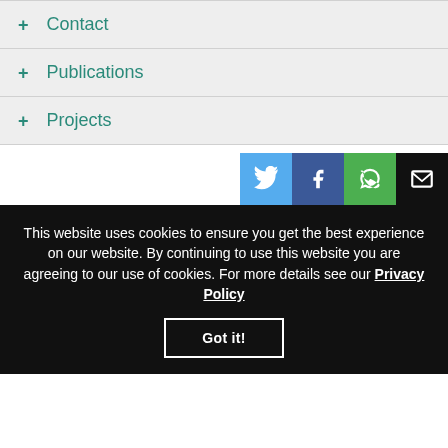+ Contact
+ Publications
+ Projects
[Figure (infographic): Social sharing icons: Twitter (blue), Facebook (dark blue), WhatsApp (green), Email (black)]
This website uses cookies to ensure you get the best experience on our website. By continuing to use this website you are agreeing to our use of cookies. For more details see our Privacy Policy
Got it!